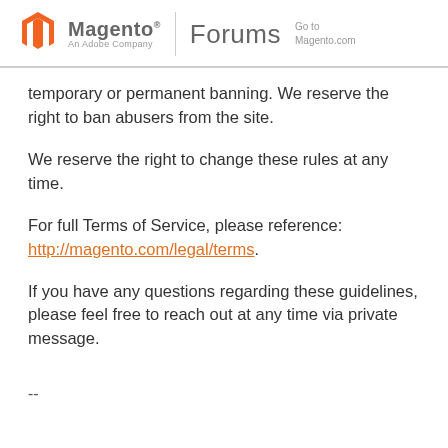Magento An Adobe Company | Forums | Go to Magento.com
temporary or permanent banning. We reserve the right to ban abusers from the site.
We reserve the right to change these rules at any time.
For full Terms of Service, please reference: http://magento.com/legal/terms.
If you have any questions regarding these guidelines, please feel free to reach out at any time via private message.
--